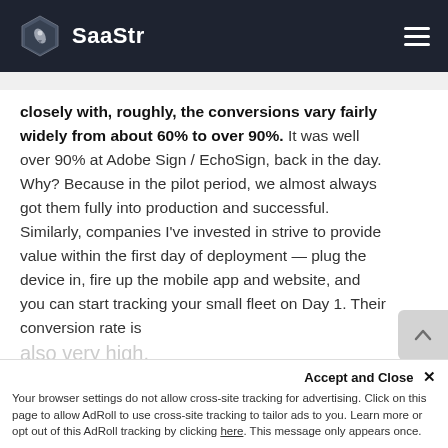SaaStr
closely with, roughly, the conversions vary fairly widely from about 60% to over 90%. It was well over 90% at Adobe Sign / EchoSign, back in the day. Why? Because in the pilot period, we almost always got them fully into production and successful. Similarly, companies I've invested in strive to provide value within the first day of deployment — plug the device in, fire up the mobile app and website, and you can start tracking your small fleet on Day 1. Their conversion rate is also very high.
Accept and Close ✕
Your browser settings do not allow cross-site tracking for advertising. Click on this page to allow AdRoll to use cross-site tracking to tailor ads to you. Learn more or opt out of this AdRoll tracking by clicking here. This message only appears once.